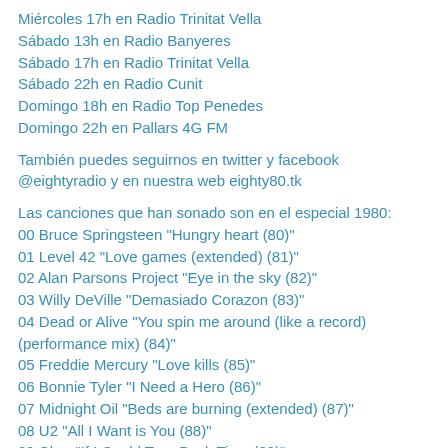Miércoles 17h en Radio Trinitat Vella
Sábado 13h en Radio Banyeres
Sábado 17h en Radio Trinitat Vella
Sábado 22h en Radio Cunit
Domingo 18h en Radio Top Penedes
Domingo 22h en Pallars 4G FM
También puedes seguirnos en twitter y facebook @eightyradio y en nuestra web eighty80.tk
Las canciones que han sonado son en el especial 1980:
00 Bruce Springsteen "Hungry heart (80)"
01 Level 42 "Love games (extended) (81)"
02 Alan Parsons Project "Eye in the sky (82)"
03 Willy DeVille "Demasiado Corazon (83)"
04 Dead or Alive "You spin me around (like a record) (performance mix) (84)"
05 Freddie Mercury "Love kills (85)"
06 Bonnie Tyler "I Need a Hero (86)"
07 Midnight Oil "Beds are burning (extended) (87)"
08 U2 "All I Want is You (88)"
09 Cher "If I Could Turn Back Time (89)"